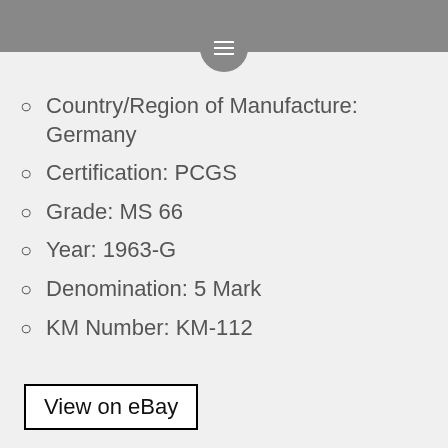Navigation menu header bar
Country/Region of Manufacture: Germany
Certification: PCGS
Grade: MS 66
Year: 1963-G
Denomination: 5 Mark
KM Number: KM-112
View on eBay
October 21, 2021   west